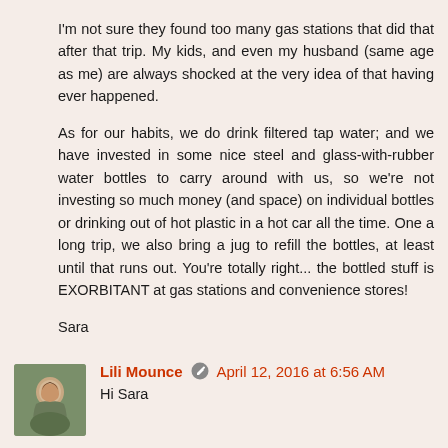I'm not sure they found too many gas stations that did that after that trip. My kids, and even my husband (same age as me) are always shocked at the very idea of that having ever happened.
As for our habits, we do drink filtered tap water; and we have invested in some nice steel and glass-with-rubber water bottles to carry around with us, so we're not investing so much money (and space) on individual bottles or drinking out of hot plastic in a hot car all the time. One a long trip, we also bring a jug to refill the bottles, at least until that runs out. You're totally right... the bottled stuff is EXORBITANT at gas stations and convenience stores!
Sara
[Figure (photo): Small avatar photo of commenter Lili Mounce, showing a woman with dark hair, embedded in a rounded rectangle.]
Lili Mounce  April 12, 2016 at 6:56 AM
Hi Sara